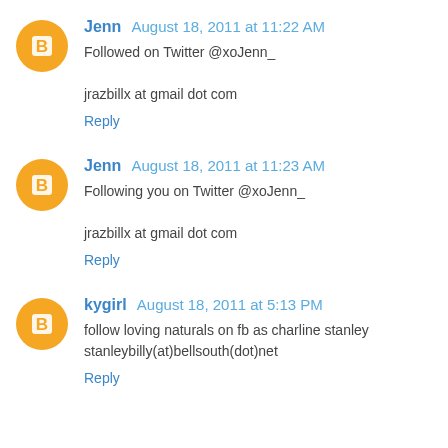Jenn  August 18, 2011 at 11:22 AM
Followed on Twitter @xoJenn_

jrazbillx at gmail dot com
Reply
Jenn  August 18, 2011 at 11:23 AM
Following you on Twitter @xoJenn_

jrazbillx at gmail dot com
Reply
kygirl  August 18, 2011 at 5:13 PM
follow loving naturals on fb as charline stanley
stanleybilly(at)bellsouth(dot)net
Reply